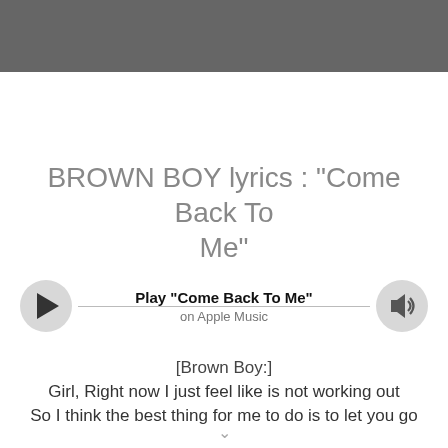[Figure (other): Dark gray header bar at top of page]
BROWN BOY lyrics : "Come Back To Me"
[Figure (other): Music player UI with play button, horizontal line, Play "Come Back To Me" on Apple Music label, and volume button]
[Brown Boy:]
Girl, Right now I just feel like is not working out
So I think the best thing for me to do is to let you go